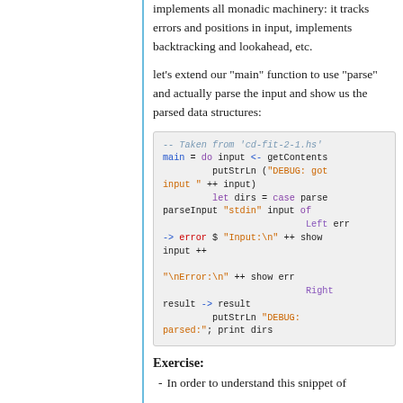implements all monadic machinery: it tracks errors and positions in input, implements backtracking and lookahead, etc.
let's extend our "main" function to use "parse" and actually parse the input and show us the parsed data structures:
[Figure (screenshot): Haskell code block showing main function using do notation with getContents, putStrLn, case parse parseInput, Left err -> error, Right result -> result, putStrLn with DEBUG strings]
Exercise:
In order to understand this snippet of